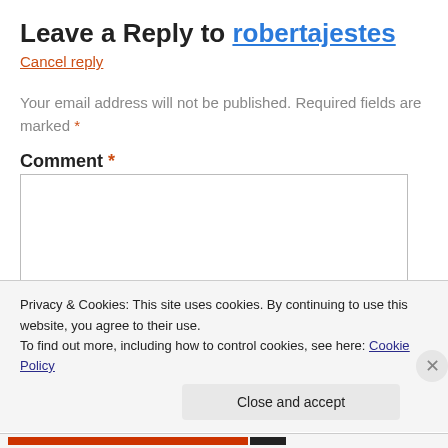Leave a Reply to robertajestes
Cancel reply
Your email address will not be published. Required fields are marked *
Comment *
Privacy & Cookies: This site uses cookies. By continuing to use this website, you agree to their use. To find out more, including how to control cookies, see here: Cookie Policy
Close and accept